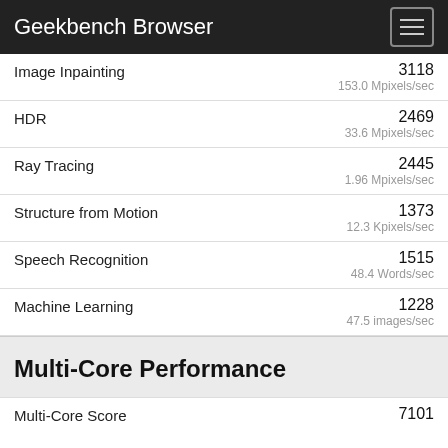Geekbench Browser
Image Inpainting	3118	153.0 Mpixels/sec
HDR	2469	33.6 Mpixels/sec
Ray Tracing	2445	1.96 Mpixels/sec
Structure from Motion	1373	12.3 Kpixels/sec
Speech Recognition	1515	48.4 Words/sec
Machine Learning	1228	47.5 images/sec
Multi-Core Performance
Multi-Core Score	7101